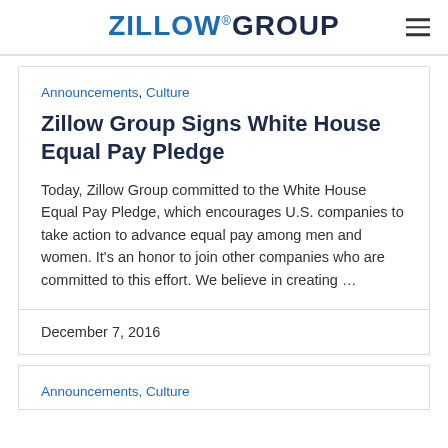ZILLOW GROUP
Announcements, Culture
Zillow Group Signs White House Equal Pay Pledge
Today, Zillow Group committed to the White House Equal Pay Pledge, which encourages U.S. companies to take action to advance equal pay among men and women. It's an honor to join other companies who are committed to this effort. We believe in creating ...
December 7, 2016
Announcements, Culture